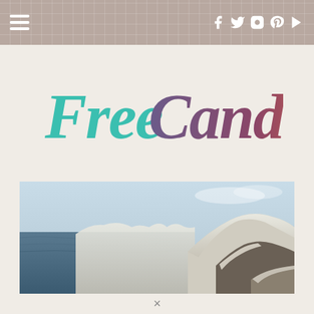Navigation bar with hamburger menu and social icons (Facebook, Twitter, Instagram, Pinterest, YouTube)
[Figure (logo): FreeCandie logo in hand-lettered style with teal/cyan color for 'Free' and gradient purple-to-red for 'Candie']
[Figure (photo): Aerial or elevated coastal/cliff view with snow-covered rocky cliffs, dark ocean water, pale blue winter sky with light clouds]
×